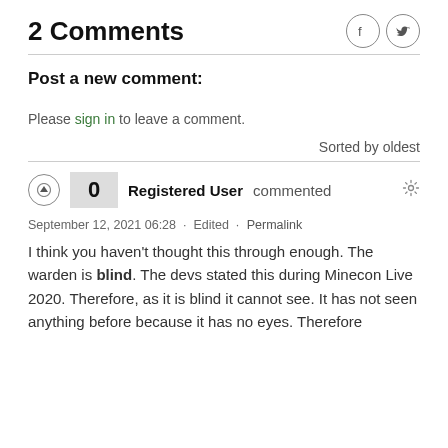2 Comments
Post a new comment:
Please sign in to leave a comment.
Sorted by oldest
Registered User commented
September 12, 2021 06:28 · Edited · Permalink
I think you haven't thought this through enough. The warden is blind. The devs stated this during Minecon Live 2020. Therefore, as it is blind it cannot see. It has not seen anything before because it has no eyes. Therefore